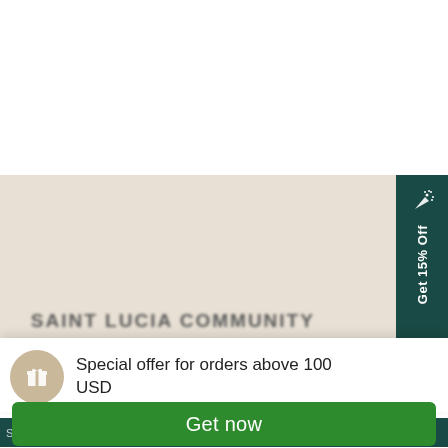[Figure (screenshot): Screenshot of an e-commerce website showing a beige product area background with a 'Get 15% Off' dark teal vertical tab on the right side, a partially visible bold heading text, a white popup card with a gift icon and 'Special offer for orders above 100 USD' text, a dark teal banner bar with product name 'VOGUE de DIAMONDS CRUSH Silver Adjustable B', a price row showing $38.50 crossed out and $15.02, and a green 'Get now' button at the bottom.]
Special offer for orders above 100 USD
VOGUE de DIAMONDS CRUSH Silver Adjustable B
$38.50  $15.02
Get now